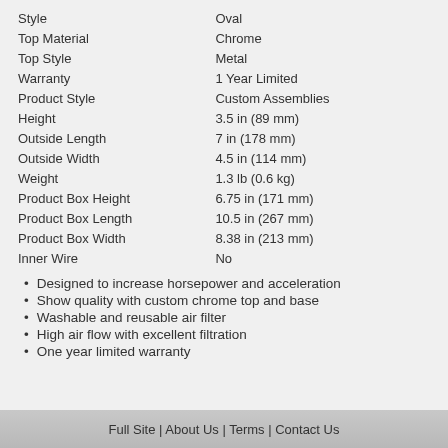| Style | Oval |
| Top Material | Chrome |
| Top Style | Metal |
| Warranty | 1 Year Limited |
| Product Style | Custom Assemblies |
| Height | 3.5 in (89 mm) |
| Outside Length | 7 in (178 mm) |
| Outside Width | 4.5 in (114 mm) |
| Weight | 1.3 lb (0.6 kg) |
| Product Box Height | 6.75 in (171 mm) |
| Product Box Length | 10.5 in (267 mm) |
| Product Box Width | 8.38 in (213 mm) |
| Inner Wire | No |
Designed to increase horsepower and acceleration
Show quality with custom chrome top and base
Washable and reusable air filter
High air flow with excellent filtration
One year limited warranty
Full Site | About Us | Terms | Contact Us